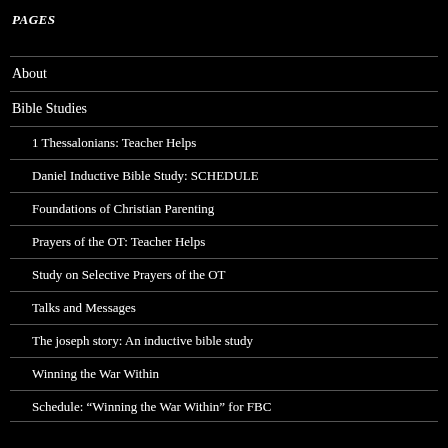PAGES
About
Bible Studies
1 Thessalonians: Teacher Helps
Daniel Inductive Bible Study: SCHEDULE
Foundations of Christian Parenting
Prayers of the OT: Teacher Helps
Study on Selective Prayers of the OT
Talks and Messages
The joseph story: An inductive bible study
Winning the War Within
Schedule: “Winning the War Within” for FBC